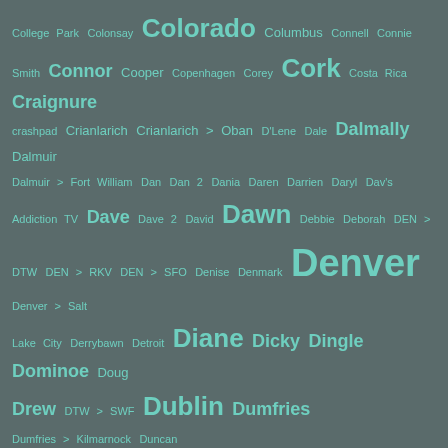[Figure (other): Tag cloud of place names and personal names on a dark teal-grey background. Words appear in teal/mint color at varying sizes indicating frequency/importance. Includes: College Park, Colonsay, Colorado, Columbus, Connell, Connie Smith, Connor, Cooper, Copenhagen, Corey, Cork, Costa Rica, Craignure, crashpad, Crianlarich, Crianlarich > Oban, D'Lene, Dale, Dalmally, Dalmuir, Dalmuir > Fort William, Dan, Dan 2, Dania, Daren, Darrien, Daryl, Dav's Addiction TV, Dave, Dave 2, David, Dawn, Debbie, Deborah, DEN > DTW, DEN > RKV, DEN > SFO, Denise, Denmark, Denver, Denver > Salt Lake City, Derrybawn, Detroit, Diane, Dicky, Dingle, Dominoe, Doug, Drew, DTW > SWF, Dublin, Dumfries, Dumfries > Kilmarnock, Duncan, Dundee, Dundee > Aberdeen, East Boston, Easton, Edinburgh, Edinburgh > Carlisle, Edinburgh > Glasgow, Edinburgh > Inverness, Elizabeth, Ellie, Emily, England, Eric, Erin, Esther, Ewing, Falkirk, Ferman, Ferny Grove, Fionnphort, Flint, Flora, Florida, Fort Augustus, Fort Lauderdale, Fort William, Fort William > Crianlarich, France, Franklin, Ft Lauderdale, Gallery, Galway, Garth Brooks, Gary, Gaston, Gayle, Glasgow (partially visible)]